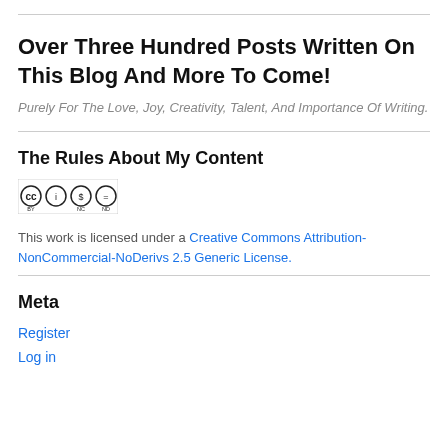Over Three Hundred Posts Written On This Blog And More To Come!
Purely For The Love, Joy, Creativity, Talent, And Importance Of Writing.
The Rules About My Content
[Figure (logo): Creative Commons BY-NC-ND license badge]
This work is licensed under a Creative Commons Attribution-NonCommercial-NoDerivs 2.5 Generic License.
Meta
Register
Log in